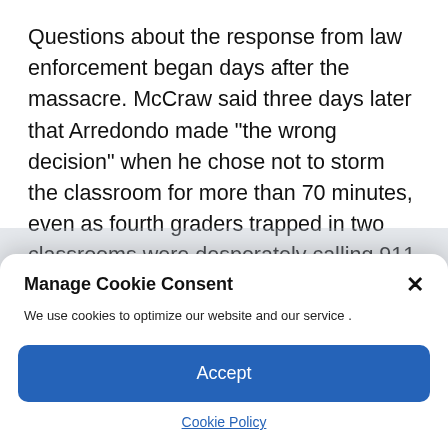Questions about the response from law enforcement began days after the massacre. McCraw said three days later that Arredondo made “the wrong decision” when he chose not to storm the classroom for more than 70 minutes, even as fourth graders trapped in two classrooms were desperately calling 911 for help and distressed parents outside the school were...
[Figure (screenshot): Cookie consent modal dialog with title 'Manage Cookie Consent', a close X button, body text 'We use cookies to optimize our website and our service.', a blue Accept button, and a Cookie Policy link.]